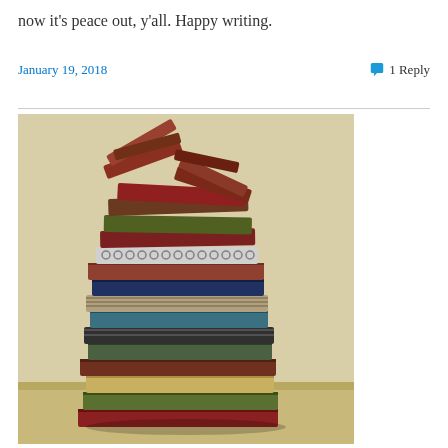now it's peace out, y'all. Happy writing.
January 19, 2018
1 Reply
[Figure (photo): A tall, precariously stacked pile of old books photographed against a light beige/cream wall background. The books vary in color — reds, greens, blues, browns — and the stack leans slightly, with books at the top splaying outward.]